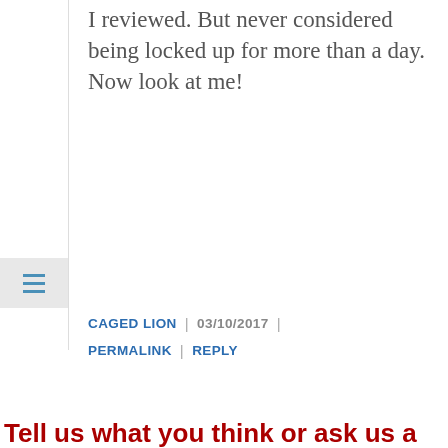I reviewed. But never considered being locked up for more than a day. Now look at me!
CAGED LION | 03/10/2017 | PERMALINK | REPLY
Tell us what you think or ask us a question
Privacy & Cookies: This site uses cookies. By continuing to use this website, you agree to their use.
To find out more, including how to control cookies, see here:
Cookie Policy
Close and accept